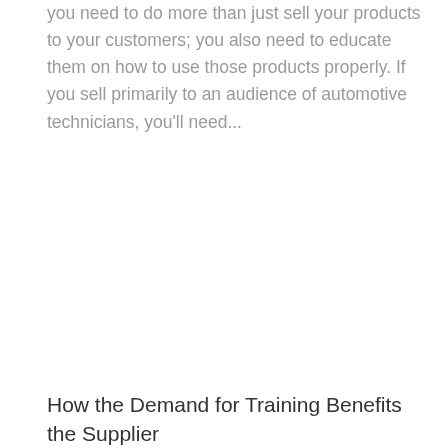you need to do more than just sell your products to your customers; you also need to educate them on how to use those products properly. If you sell primarily to an audience of automotive technicians, you'll need...
How the Demand for Training Benefits the Supplier